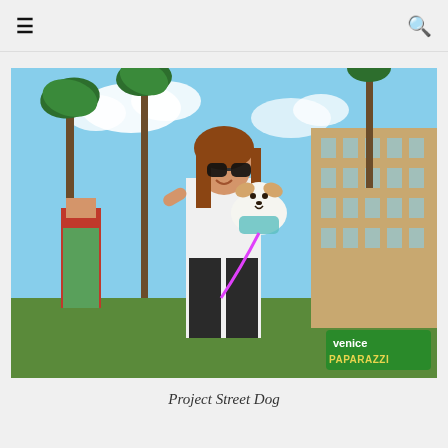☰ [menu icon] | [search icon]
[Figure (photo): A smiling woman with sunglasses holding a small white fluffy dog wearing a teal outfit and pink harness/leash, standing outdoors near palm trees and a multi-story building. Other people visible in background, including a woman in a colorful Hawaiian-style outfit. Venice Paparazzi watermark logo in lower right corner.]
Project Street Dog